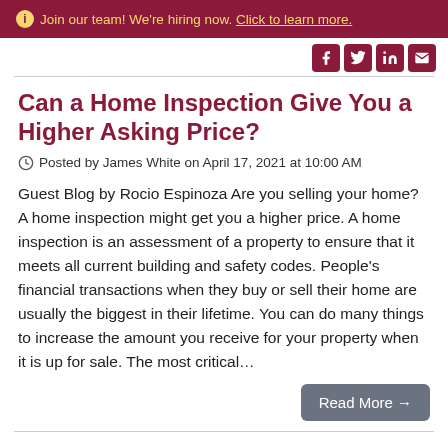Join our team! We're hiring now. Click to learn more.
Can a Home Inspection Give You a Higher Asking Price?
Posted by James White on April 17, 2021 at 10:00 AM
Guest Blog by Rocio Espinoza Are you selling your home? A home inspection might get you a higher price. A home inspection is an assessment of a property to ensure that it meets all current building and safety codes. People's financial transactions when they buy or sell their home are usually the biggest in their lifetime. You can do many things to increase the amount you receive for your property when it is up for sale. The most critical...